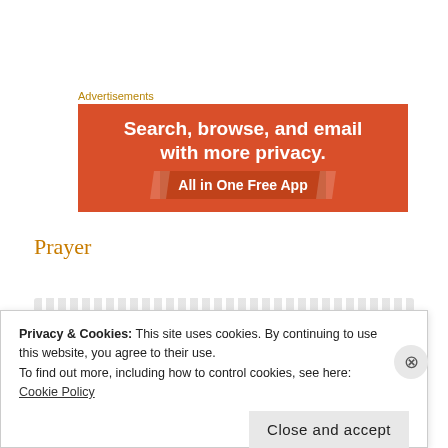Advertisements
[Figure (illustration): Advertisement banner with orange/red background. Text reads: 'Search, browse, and email with more privacy. All in One Free App']
Prayer
Privacy & Cookies: This site uses cookies. By continuing to use this website, you agree to their use.
To find out more, including how to control cookies, see here:
Cookie Policy
Close and accept